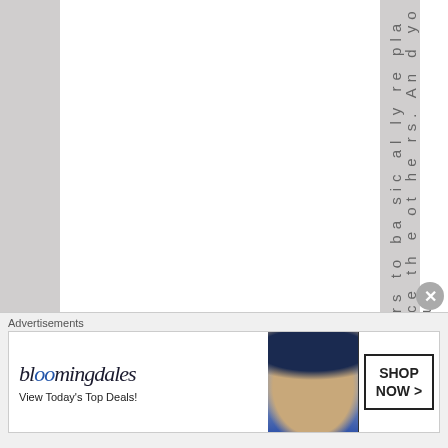rs to basically replace the others. And you'r
Advertisements
[Figure (other): Bloomingdale's advertisement banner with logo, tagline 'View Today's Top Deals!', a woman in a wide-brim hat photo, and a 'SHOP NOW >' button]